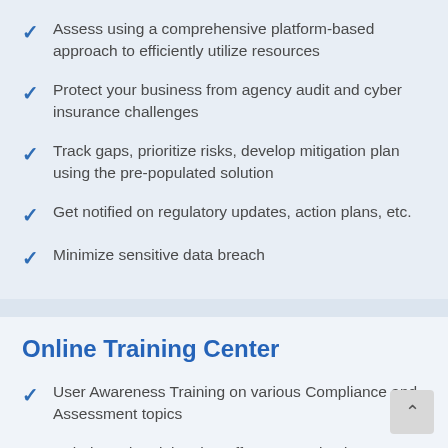Assess using a comprehensive platform-based approach to efficiently utilize resources
Protect your business from agency audit and cyber insurance challenges
Track gaps, prioritize risks, develop mitigation plan using the pre-populated solution
Get notified on regulatory updates, action plans, etc.
Minimize sensitive data breach
Online Training Center
User Awareness Training on various Compliance and Assessment topics
Role-based Training that offers customized